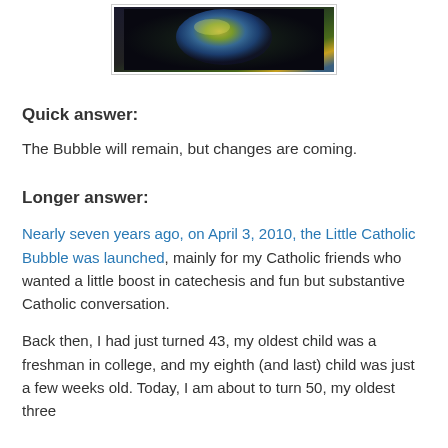[Figure (photo): Colorful soap bubble photograph against a dark background, with iridescent rainbow hues of yellow, green, and blue]
Quick answer:
The Bubble will remain, but changes are coming.
Longer answer:
Nearly seven years ago, on April 3, 2010, the Little Catholic Bubble was launched, mainly for my Catholic friends who wanted a little boost in catechesis and fun but substantive Catholic conversation.
Back then, I had just turned 43, my oldest child was a freshman in college, and my eighth (and last) child was just a few weeks old. Today, I am about to turn 50, my oldest three children...